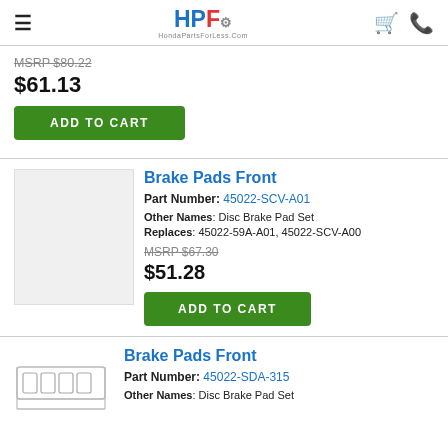HPF HondaPartsForLess.com
MSRP $80.22
$61.13
ADD TO CART
Brake Pads Front
Part Number: 45022-SCV-A01
Other Names: Disc Brake Pad Set
Replaces: 45022-59A-A01, 45022-SCV-A00
MSRP $67.30
$51.28
ADD TO CART
Brake Pads Front
Part Number: 45022-SDA-315
Other Names: Disc Brake Pad Set